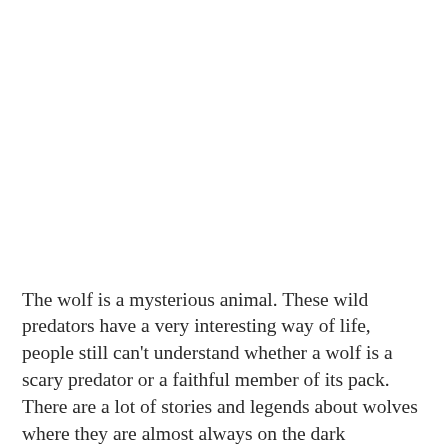The wolf is a mysterious animal. These wild predators have a very interesting way of life, people still can't understand whether a wolf is a scary predator or a faithful member of its pack. There are a lot of stories and legends about wolves where they are almost always on the dark